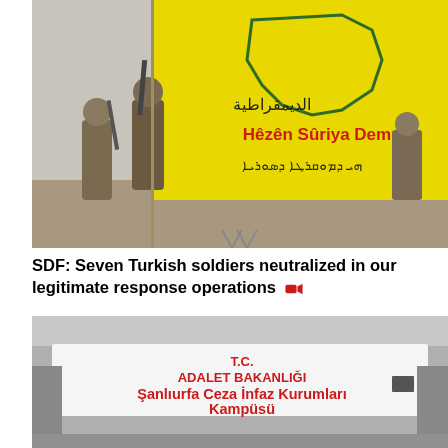[Figure (photo): Soldiers standing with weapons in front of a large yellow SDF (Syrian Democratic Forces) flag with Arabic and Latin text reading 'Hêzên Sûriya Demokratîk' and map of Syria on it.]
SDF: Seven Turkish soldiers neutralized in our legitimate response operations 🎥
[Figure (photo): Entrance gate of Şanlıurfa Ceza İnfaz Kurumları Kampüsü (Şanlıurfa Prison Campus) with T.C. Adalet Bakanlığı (Turkish Ministry of Justice) sign in red letters on white background.]